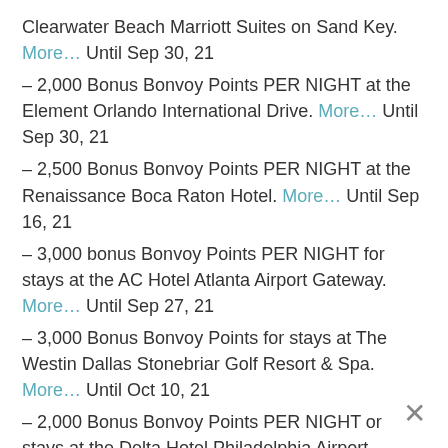Clearwater Beach Marriott Suites on Sand Key. More… Until Sep 30, 21
– 2,000 Bonus Bonvoy Points PER NIGHT at the Element Orlando International Drive. More… Until Sep 30, 21
– 2,500 Bonus Bonvoy Points PER NIGHT at the Renaissance Boca Raton Hotel. More… Until Sep 16, 21
– 3,000 bonus Bonvoy Points PER NIGHT for stays at the AC Hotel Atlanta Airport Gateway. More… Until Sep 27, 21
– 3,000 Bonus Bonvoy Points for stays at The Westin Dallas Stonebriar Golf Resort & Spa. More… Until Oct 10, 21
– 2,000 Bonus Bonvoy Points PER NIGHT or stays at the Delta Hotel Philadelphia Airport. More… Until Sep 29, 21
– 3,000 bonus Bonvoy Points PER NIGHT for stays at the SpringHill Suites Atlanta Buford/Mall of Georg… More… Until Sep 24, 21